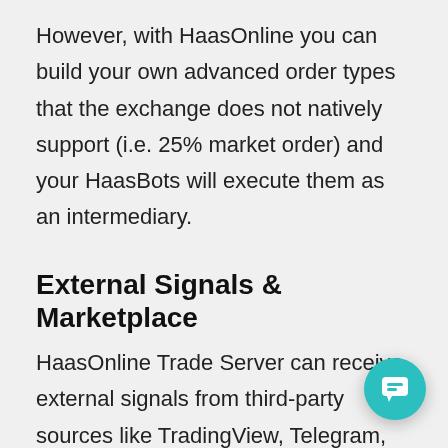However, with HaasOnline you can build your own advanced order types that the exchange does not natively support (i.e. 25% market order) and your HaasBots will execute them as an intermediary.
External Signals & Marketplace
HaasOnline Trade Server can receive external signals from third-party sources like TradingView, Telegram, and Discord. There's currently no support for external signals generated from public marketplaces. It should